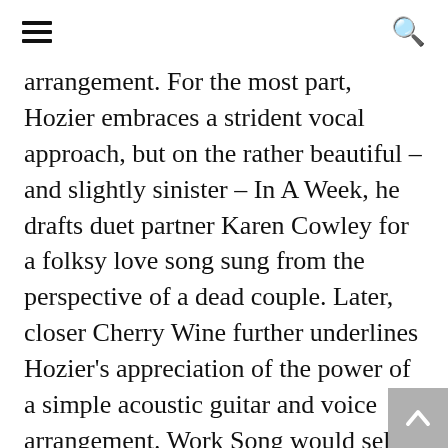[hamburger menu icon] [search icon]
arrangement. For the most part, Hozier embraces a strident vocal approach, but on the rather beautiful – and slightly sinister – In A Week, he drafts duet partner Karen Cowley for a folksy love song sung from the perspective of a dead couple. Later, closer Cherry Wine further underlines Hozier's appreciation of the power of a simple acoustic guitar and voice arrangement. Work Song would sell 20 million if Adele sang it – another dark, meditative number that allows space for vocals with the occasional instrumental swell to add dynamics. There is filler here